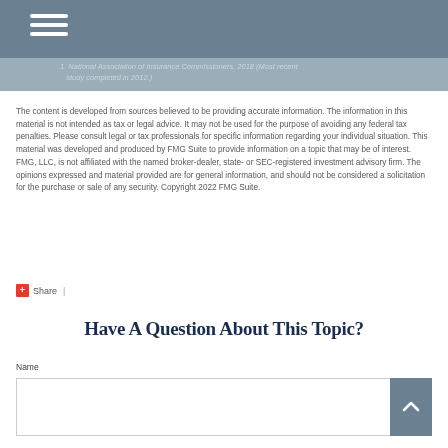1. National Association of Insurance Commissioners, 2018 (Most recent study completed in 2012.)
The content is developed from sources believed to be providing accurate information. The information in this material is not intended as tax or legal advice. It may not be used for the purpose of avoiding any federal tax penalties. Please consult legal or tax professionals for specific information regarding your individual situation. This material was developed and produced by FMG Suite to provide information on a topic that may be of interest. FMG, LLC, is not affiliated with the named broker-dealer, state- or SEC-registered investment advisory firm. The opinions expressed and material provided are for general information, and should not be considered a solicitation for the purchase or sale of any security. Copyright 2022 FMG Suite.
Share |
Have A Question About This Topic?
Name